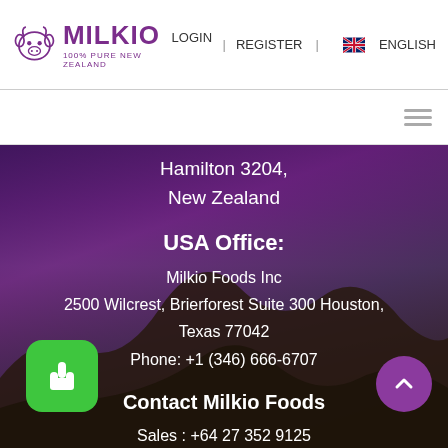[Figure (logo): Milkio 100% Pure New Zealand logo with cow head icon in purple]
LOGIN | REGISTER | ENGLISH
[Figure (other): Hamburger menu icon (three horizontal lines)]
Hamilton 3204,
New Zealand
USA Office:
Milkio Foods Inc
2500 Wilcrest, Brierforest Suite 300 Houston,
Texas 77042
Phone: +1 (346) 666-6707
Contact Milkio Foods
Sales : +64 27 352 9125
Office : + 64 (7) 849 0965